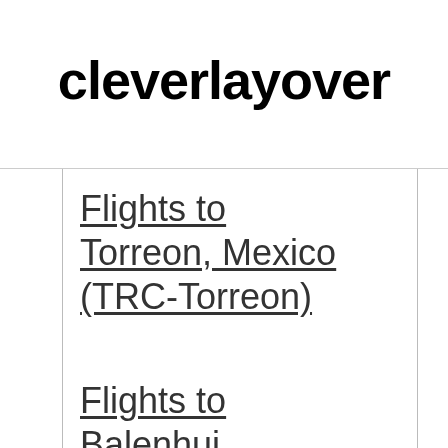cleverlayover
Flights to Torreon, Mexico (TRC-Torreon)
Flights to Balenhui